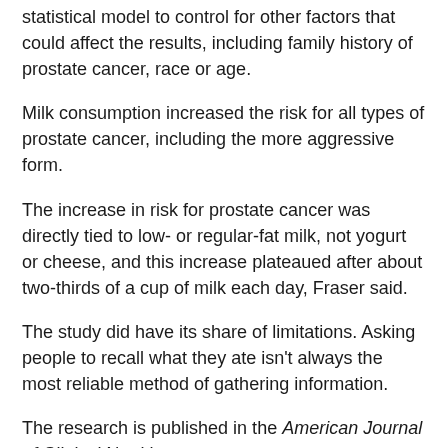statistical model to control for other factors that could affect the results, including family history of prostate cancer, race or age.
Milk consumption increased the risk for all types of prostate cancer, including the more aggressive form.
The increase in risk for prostate cancer was directly tied to low- or regular-fat milk, not yogurt or cheese, and this increase plateaued after about two-thirds of a cup of milk each day, Fraser said.
The study did have its share of limitations. Asking people to recall what they ate isn't always the most reliable method of gathering information.
The research is published in the American Journal of Clinical Nutrition.